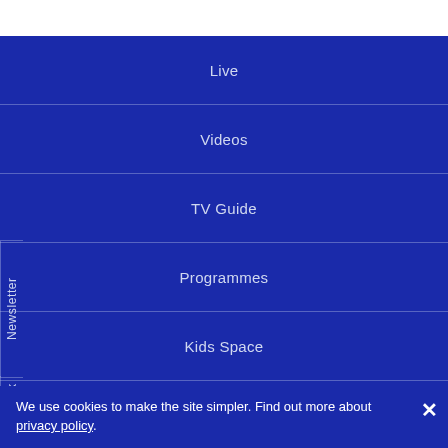Live
Videos
TV Guide
Programmes
Kids Space
Our Apps
We use cookies to make the site simpler. Find out more about privacy policy.